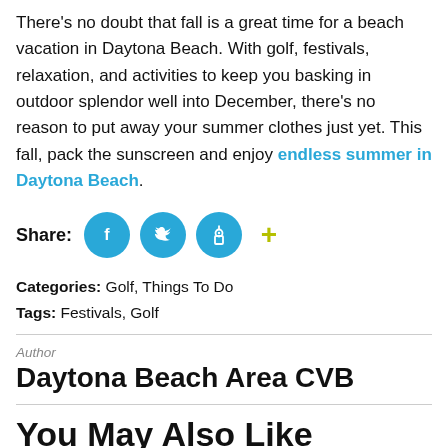There's no doubt that fall is a great time for a beach vacation in Daytona Beach. With golf, festivals, relaxation, and activities to keep you basking in outdoor splendor well into December, there's no reason to put away your summer clothes just yet. This fall, pack the sunscreen and enjoy endless summer in Daytona Beach.
[Figure (infographic): Share row with Facebook, Twitter, Pinterest social media icon buttons (blue circles with white icons) and a green plus button]
Categories: Golf, Things To Do
Tags: Festivals, Golf
Author
Daytona Beach Area CVB
You May Also Like